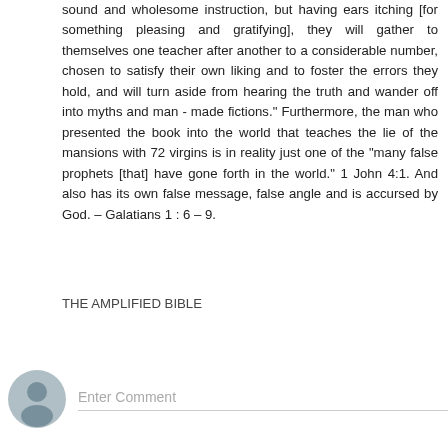sound and wholesome instruction, but having ears itching [for something pleasing and gratifying], they will gather to themselves one teacher after another to a considerable number, chosen to satisfy their own liking and to foster the errors they hold, and will turn aside from hearing the truth and wander off into myths and man - made fictions." Furthermore, the man who presented the book into the world that teaches the lie of the mansions with 72 virgins is in reality just one of the "many false prophets [that] have gone forth in the world." 1 John 4:1. And also has its own false message, false angle and is accursed by God. – Galatians 1 : 6 – 9.
THE AMPLIFIED BIBLE
Reply
Enter Comment